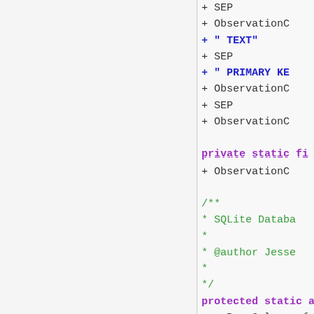[Figure (screenshot): Code editor screenshot showing Java/Android code with syntax highlighting. Left panel is blank/empty white space. Right panel shows code with purple keywords, blue string literals, green comments, and pink access modifiers. Lines include string concatenation with SEP, ObservationC..., TEXT, PRIMARY KEY, private static fi..., Javadoc comment block with SQLite Database and @author Jesse, and protected/public static class members.]